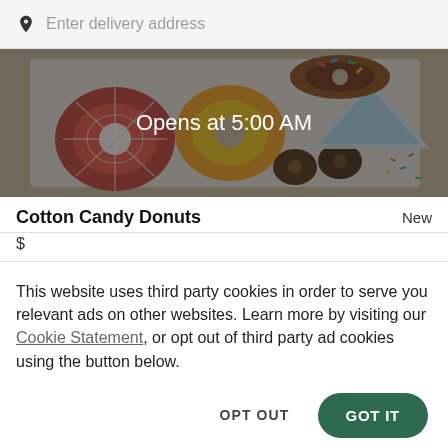Enter delivery address
[Figure (photo): Overhead photo of assorted colorful donuts on a tray, shown with a dark overlay and text 'Opens at 5:00 AM']
Cotton Candy Donuts
New
$
This website uses third party cookies in order to serve you relevant ads on other websites. Learn more by visiting our Cookie Statement, or opt out of third party ad cookies using the button below.
OPT OUT
GOT IT